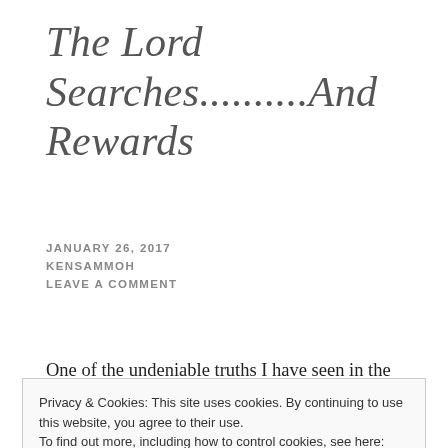The Lord Searches..........And Rewards
JANUARY 26, 2017
KENSAMMOH
LEAVE A COMMENT
One of the undeniable truths I have seen in the Old
Privacy & Cookies: This site uses cookies. By continuing to use this website, you agree to their use.
To find out more, including how to control cookies, see here: Cookie Policy
Close and accept
and say over issues. They were more of